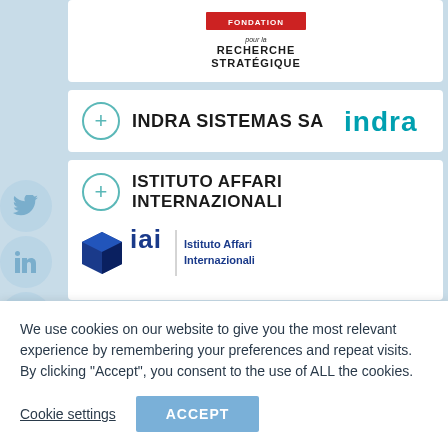[Figure (logo): Fondation pour la Recherche Stratégique logo at top]
INDRA SISTEMAS SA
[Figure (logo): Indra company logo in teal/blue text]
ISTITUTO AFFARI INTERNAZIONALI
[Figure (logo): IAI Istituto Affari Internazionali logo with blue diamond shape]
KATHOLIEKE UNIVERSITEIT LEUVEN
We use cookies on our website to give you the most relevant experience by remembering your preferences and repeat visits. By clicking "Accept", you consent to the use of ALL the cookies.
Cookie settings
ACCEPT